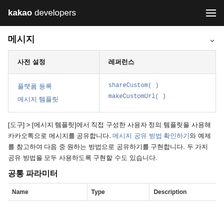kakao developers
메시지
| 사전 설정 | 레퍼런스 |
| --- | --- |
| 플랫폼 등록
메시지 템플릿 | shareCustom()
makeCustomUrl() |
[도구] > [메시지 템플릿]에서 직접 구성한 사용자 정의 템플릿을 사용해 카카오톡으로 메시지를 공유합니다. 메시지 공유 방법 확인하기와 예제를 참고하여 다음 중 원하는 방법으로 공유하기를 구현합니다. 두 가지 공유 방법을 모두 사용하도록 구현할 수도 있습니다.
공통 파라미터
| Name | Type | Description |
| --- | --- | --- |